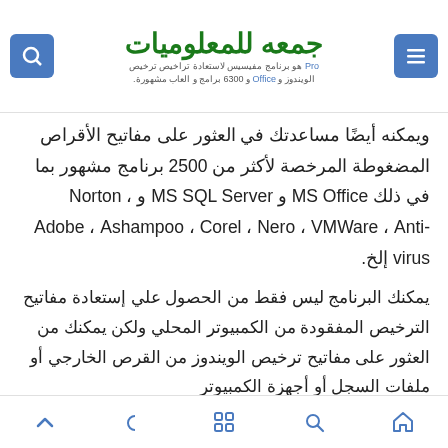جمعه للمعلوميات - Pro هو برنامج مفيسيس لاستعادة تراخيص ترخيص الويندوز و Office و 6300 برامج و العاب مشهورة.
ويمكنه أيضًا مساعدتك في العثور على مفاتيح الأقراص المضغوطة المرخصة لأكثر من 2500 برنامج مشهور بما في ذلك MS Office و MS SQL Server و Norton ، Adobe ، Ashampoo ، Corel ، Nero ، VMWare ، Anti-virus إلخ.
يمكنك البرنامج ليس فقط من الحصول علي إستعادة مفاتيح الترخيص المفقودة من الكمبيوتر المحلي ولكن يمكنك من العثور على مفاتيح ترخيص الويندوز من القرص الخارجي أو ملفات السجل أو أجهزة الكمبيوتر
Navigation icons: up, moon, apps, search, home